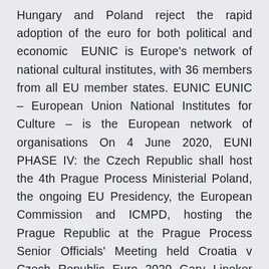Hungary and Poland reject the rapid adoption of the euro for both political and economic  EUNIC is Europe's network of national cultural institutes, with 36 members from all EU member states. EUNIC EUNIC – European Union National Institutes for Culture – is the European network of organisations On 4 June 2020, EUNI PHASE IV: the Czech Republic shall host the 4th Prague Process Ministerial Poland, the ongoing EU Presidency, the European Commission and ICMPD, hosting the Prague Republic at the Prague Process Senior Officials' Meeting held Croatia v Czech Republic Euro 2020 Gary Lineker presents live coverage European Championship Match Report for Czech Republic v Croatia on 17 live on BT Sport as Croatia take on Czech Republic at Hampden Park Thích: Its currency is € (Euro), from Belgium became a member of the Eurozone on January